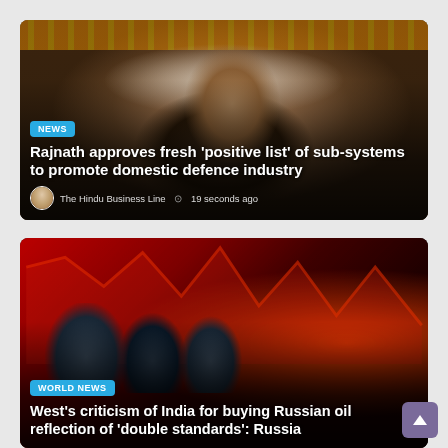[Figure (photo): Indian politician Rajnath Singh speaking at a podium with hands raised, marigold decorations in background]
NEWS
Rajnath approves fresh 'positive list' of sub-systems to promote domestic defence industry
The Hindu Business Line  19 seconds ago
[Figure (photo): Oil barrels in foreground against a red background with a stock market chart line dropping]
WORLD NEWS
West's criticism of India for buying Russian oil reflection of 'double standards': Russia